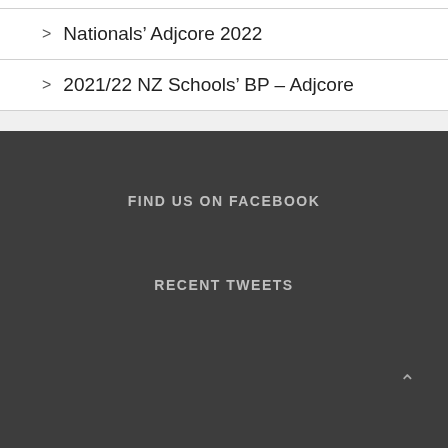Nationals' Adjcore 2022
2021/22 NZ Schools' BP – Adjcore
FIND US ON FACEBOOK
RECENT TWEETS